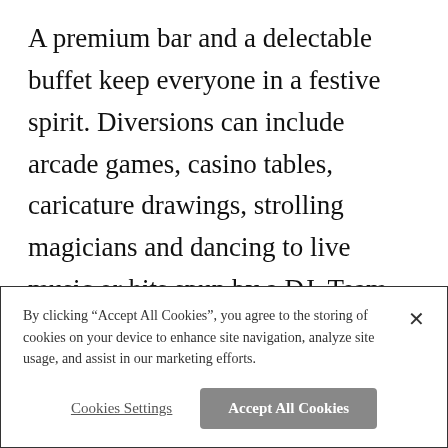A premium bar and a delectable buffet keep everyone in a festive spirit. Diversions can include arcade games, casino tables, caricature drawings, strolling magicians and dancing to live music or hits spun by a DJ. Team-building activities inspire collaboration, competition, camaraderie and problem solving.

Event planning can be daunting, so leave that to Dave & Busters' party professionals who will
By clicking “Accept All Cookies”, you agree to the storing of cookies on your device to enhance site navigation, analyze site usage, and assist in our marketing efforts.
Cookies Settings
Accept All Cookies